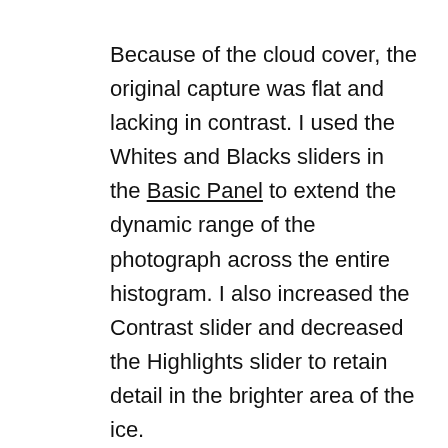Because of the cloud cover, the original capture was flat and lacking in contrast. I used the Whites and Blacks sliders in the Basic Panel to extend the dynamic range of the photograph across the entire histogram. I also increased the Contrast slider and decreased the Highlights slider to retain detail in the brighter area of the ice.
•
I adjusted the white balance of the image to neutralize the ice in the foreground by moving the Temperature slider towards blue and the Tint slider slightly towards green.